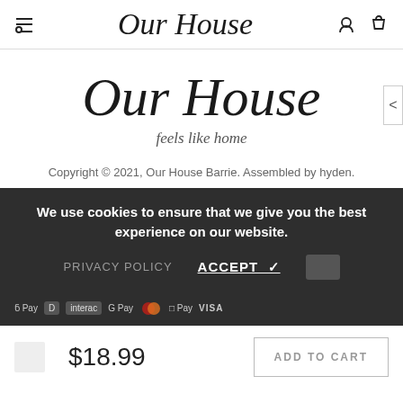Our House
Our House
feels like home
Copyright © 2021, Our House Barrie. Assembled by hyden.
We use cookies to ensure that we give you the best experience on our website.
PRIVACY POLICY   ACCEPT ✓
$18.99
ADD TO CART